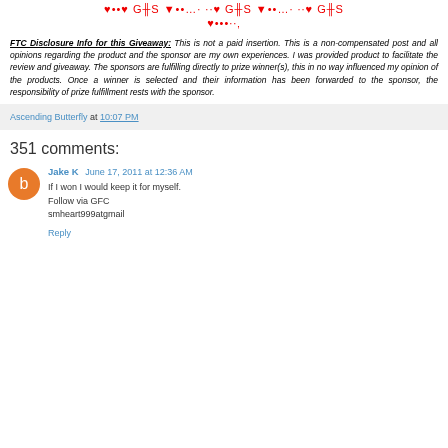[Figure (illustration): Decorative header with hearts and stylized text pattern in red/pink colors]
FTC Disclosure Info for this Giveaway: This is not a paid insertion. This is a non-compensated post and all opinions regarding the product and the sponsor are my own experiences. I was provided product to facilitate the review and giveaway. The sponsors are fulfilling directly to prize winner(s), this in no way influenced my opinion of the products. Once a winner is selected and their information has been forwarded to the sponsor, the responsibility of prize fulfillment rests with the sponsor.
Ascending Butterfly at 10:07 PM
351 comments:
Jake K  June 17, 2011 at 12:36 AM
If I won I would keep it for myself.
Follow via GFC
smheart999atgmail
Reply